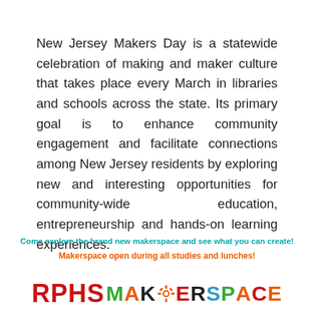New Jersey Makers Day is a statewide celebration of making and maker culture that takes place every March in libraries and schools across the state. Its primary goal is to enhance community engagement and facilitate connections among New Jersey residents by exploring new and interesting opportunities for community-wide education, entrepreneurship and hands-on learning experiences.
Come explore the brand new makerspace and see what you can create!
Makerspace open during all studies and lunches!
[Figure (logo): RPHS MakerSpace logo with colorful letters and gear icon]